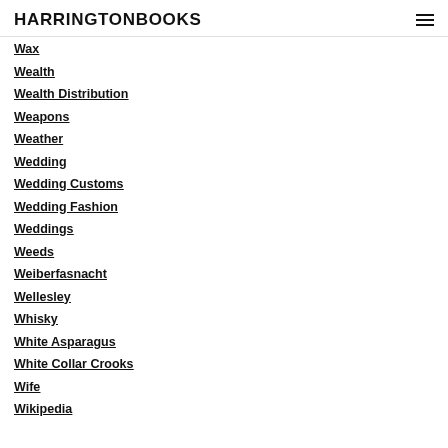HARRINGTONBOOKS
Wax
Wealth
Wealth Distribution
Weapons
Weather
Wedding
Wedding Customs
Wedding Fashion
Weddings
Weeds
Weiberfasnacht
Wellesley
Whisky
White Asparagus
White Collar Crooks
Wife
Wikipedia